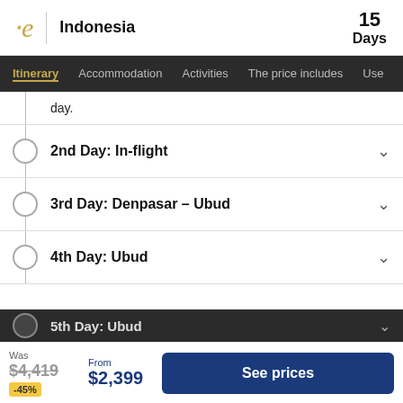Indonesia | 15 Days
Itinerary | Accommodation | Activities | The price includes | User...
day.
2nd Day: In-flight
3rd Day: Denpasar – Ubud
4th Day: Ubud
5th Day: Ubud
Was $4,419 -45% | From $2,399 | See prices